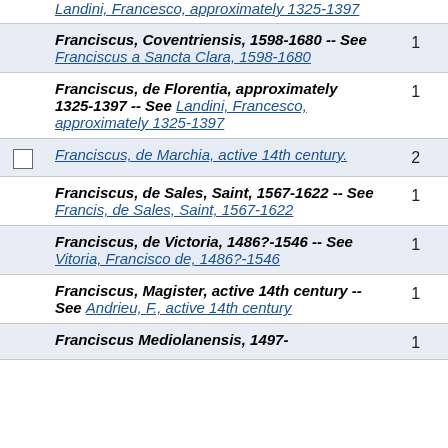|  | Name | Count |
| --- | --- | --- |
|  | Landini, Francesco, approximately 1325-1397 [link] |  |
|  | Franciscus, Coventriensis, 1598-1680 -- See Franciscus a Sancta Clara, 1598-1680 | 1 |
|  | Franciscus, de Florentia, approximately 1325-1397 -- See Landini, Francesco, approximately 1325-1397 | 1 |
| checkbox | Franciscus, de Marchia, active 14th century. | 2 |
|  | Franciscus, de Sales, Saint, 1567-1622 -- See Francis, de Sales, Saint, 1567-1622 | 1 |
|  | Franciscus, de Victoria, 1486?-1546 -- See Vitoria, Francisco de, 1486?-1546 | 1 |
|  | Franciscus, Magister, active 14th century -- See Andrieu, F., active 14th century | 1 |
|  | Franciscus Mediolanensis, 1497- | 1 |